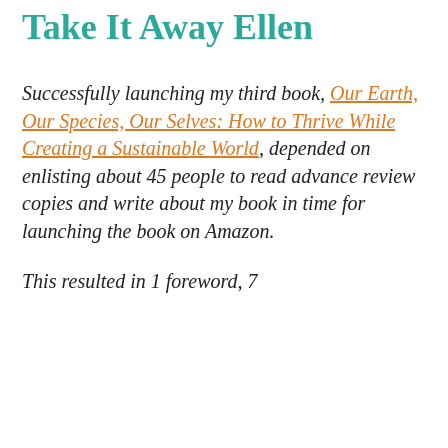Take It Away Ellen
Successfully launching my third book, Our Earth, Our Species, Our Selves: How to Thrive While Creating a Sustainable World, depended on enlisting about 45 people to read advance review copies and write about my book in time for launching the book on Amazon.

This resulted in 1 foreword, 7